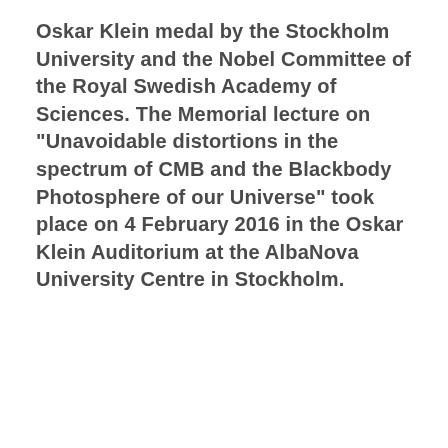Oskar Klein medal by the Stockholm University and the Nobel Committee of the Royal Swedish Academy of Sciences. The Memorial lecture on "Unavoidable distortions in the spectrum of CMB and the Blackbody Photosphere of our Universe" took place on 4 February 2016 in the Oskar Klein Auditorium at the AlbaNova University Centre in Stockholm.